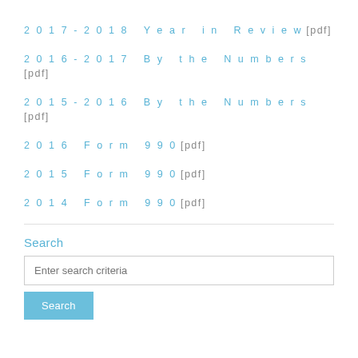2017-2018 Year in Review [pdf]
2016-2017 By the Numbers [pdf]
2015-2016 By the Numbers [pdf]
2016 Form 990 [pdf]
2015 Form 990 [pdf]
2014 Form 990 [pdf]
Search
Enter search criteria
Search